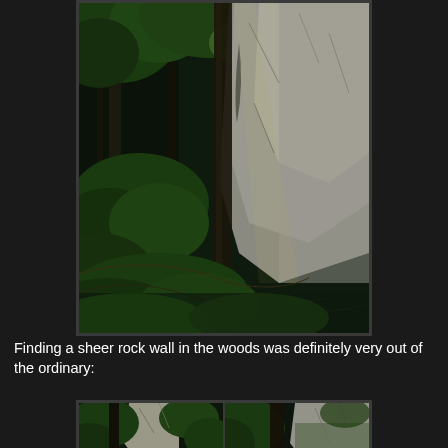[Figure (photo): A photograph of a sheer rock cliff wall visible through dense green forest trees and undergrowth, with fallen logs and ferns in the foreground. The cliff face is large and grey, dominating the right side of the image.]
Finding a sheer rock wall in the woods was definitely very out of the ordinary:
[Figure (photo): Two side-by-side photos showing close-up views of the sheer rock cliff face through forest trees. Left photo shows the cliff behind leafy trees; right photo shows a tree trunk with the cliff visible in the background.]